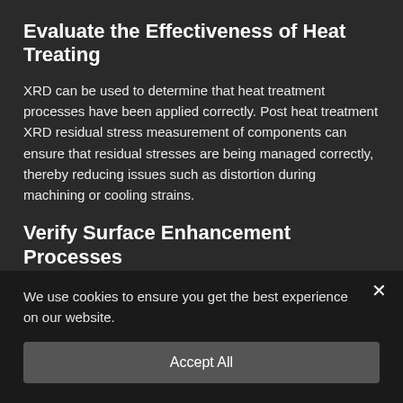Evaluate the Effectiveness of Heat Treating
XRD can be used to determine that heat treatment processes have been applied correctly. Post heat treatment XRD residual stress measurement of components can ensure that residual stresses are being managed correctly, thereby reducing issues such as distortion during machining or cooling strains.
Verify Surface Enhancement Processes
Turbine components often have complicated geometries that are enhanced by shot peening and other processes. XRD residual stress measurements can be used to verify that these locations have been enhanced to the specified
We use cookies to ensure you get the best experience on our website.
Accept All